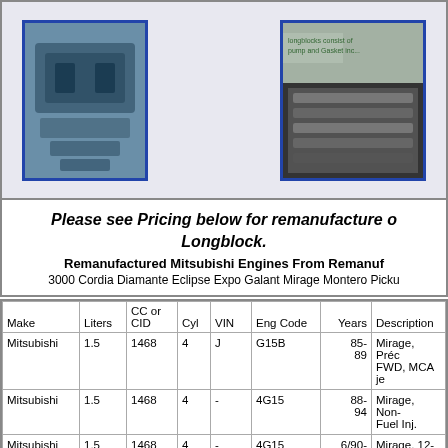[Figure (photo): Remanufactured Mitsubishi engine photo, blue-bordered]
[Figure (photo): Remanufactured engine longblock photo, partially visible, blue-bordered]
Please see Pricing below for remanufacture of Longblock. Remanufactured Mitsubishi Engines From Remanufactured... 3000 Cordia Diamante Eclipse Expo Galant Mirage Montero Pickup...
| Make | Liters | CC or CID | Cyl | VIN | Eng Code | Years | Description |
| --- | --- | --- | --- | --- | --- | --- | --- |
| Mitsubishi | 1.5 | 1468 | 4 | J | G15B | 85-89 | Mirage, Préc FWD, MCA je |
| Mitsubishi | 1.5 | 1468 | 4 | - | 4G15 | 88-94 | Mirage, Non- Fuel Inj. |
| Mitsubishi | 1.5 | 1468 | 4 | - | 4G15 | 6/90-92 | Mirage, 12-V |
|  |  |  |  |  |  |  | Mirage, 12-V non-mca jet B |